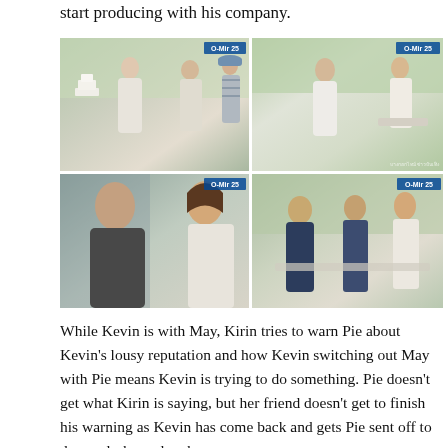start producing with his company.
[Figure (photo): Four TV show stills arranged in a 2x2 grid. Top-left: outdoor wedding scene with a woman in white dress, a man in light suit, a wedding cake, and crew. Top-right: a man in white shirt and a woman in white sleeveless top seated outdoors. Bottom-left: close-up of a man and woman in white top facing each other. Bottom-right: three people seated outdoors, two men and a woman in white top.]
While Kevin is with May, Kirin tries to warn Pie about Kevin’s lousy reputation and how Kevin switching out May with Pie means Kevin is trying to do something. Pie doesn’t get what Kirin is saying, but her friend doesn’t get to finish his warning as Kevin has come back and gets Pie sent off to do wardrobe and makeup.